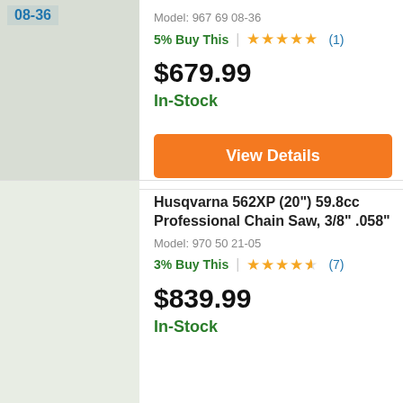08-36
Model: 967 69 08-36
5% Buy This | ★★★★★ (1)
$679.99
In-Stock
View Details
Husqvarna 562XP (20") 59.8cc Professional Chain Saw, 3/8" .058"
Model: 970 50 21-05
3% Buy This | ★★★★½ (7)
$839.99
In-Stock